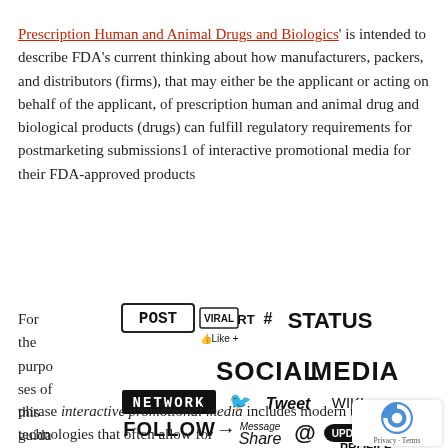'Prescription Human and Animal Drugs and Biologics' is intended to describe FDA's current thinking about how manufacturers, packers, and distributors (firms), that may either be the applicant or acting on behalf of the applicant, of prescription human and animal drug and biological products (drugs) can fulfill regulatory requirements for postmarketing submissions1 of interactive promotional media for their FDA-approved products
For the purposes of this guidance, the
[Figure (illustration): Social media word cloud illustration showing terms like POST, VIRAL, RT, #, STATUS, Like, SOCIAL MEDIA, NETWORK, Tweet, WIKI, FOLLOW, Share, Message, @, UPDATE, PROFILE, FRIEND REQUEST, LINK, ALERTS, BLOG, BOOKMARK in various hand-drawn and decorative fonts, black and white.]
phrase interactive promotional media includes modern tools and technologies that often allow for